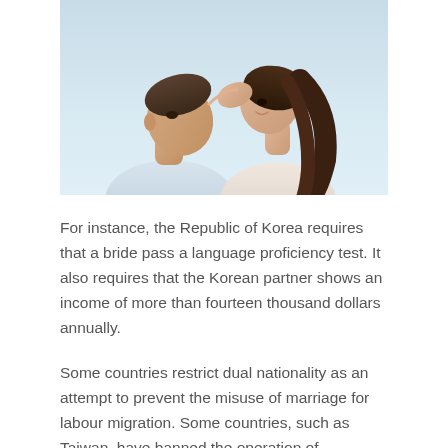[Figure (photo): A couple facing each other closely, a man and woman in an intimate pose outdoors against a light sky background.]
For instance, the Republic of Korea requires that a bride pass a language proficiency test. It also requires that the Korean partner shows an income of more than fourteen thousand dollars annually.
Some countries restrict dual nationality as an attempt to prevent the misuse of marriage for labour migration. Some countries, such as Taiwan, have banned the operation of international